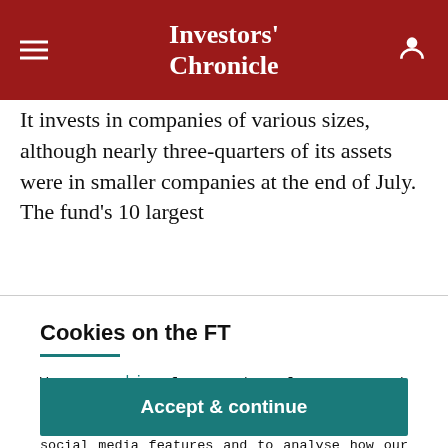Investors' Chronicle
It invests in companies of various sizes, although nearly three-quarters of its assets were in smaller companies at the end of July. The fund's 10 largest
Cookies on the FT
We use cookies for a number of reasons, such as keeping FT Sites reliable and secure, personalising content and ads, providing social media features and to analyse how our Sites are used.
Manage cookies
Accept & continue